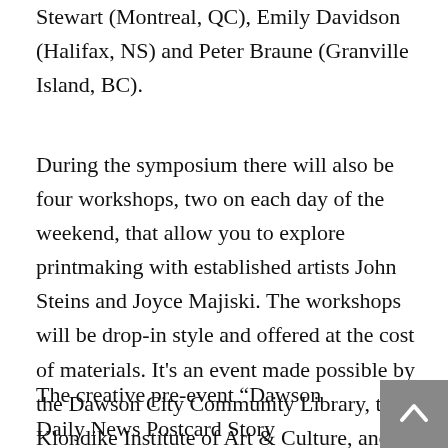Stewart (Montreal, QC), Emily Davidson (Halifax, NS) and Peter Braune (Granville Island, BC).
During the symposium there will also be four workshops, two on each day of the weekend, that allow you to explore printmaking with established artists John Steins and Joyce Majiski. The workshops will be drop-in style and offered at the cost of materials. It’s an event made possible by the Dawson City Community Library, the Klondike Institute of Art & Culture, and Parks Canada with the financial support of the Yukon Arts Fund.
The creative pre-event “Dawson Daily News Postcard Story Competition” challenges storytellers to grab a postcard, 150 words and write a story on the theme of “Gone Wild”. The competition offers the prize of $250 (that’s more than a